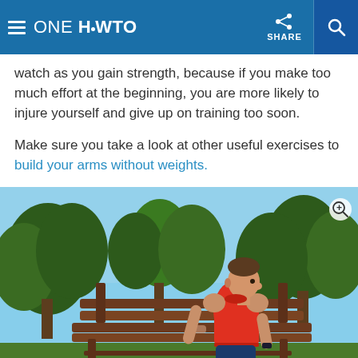ONE HOWTO | SHARE
watch as you gain strength, because if you make too much effort at the beginning, you are more likely to injure yourself and give up on training too soon.

Make sure you take a look at other useful exercises to build your arms without weights.
[Figure (photo): A fit man in a red sleeveless shirt performing tricep dips on a park bench outdoors, with trees in the background]